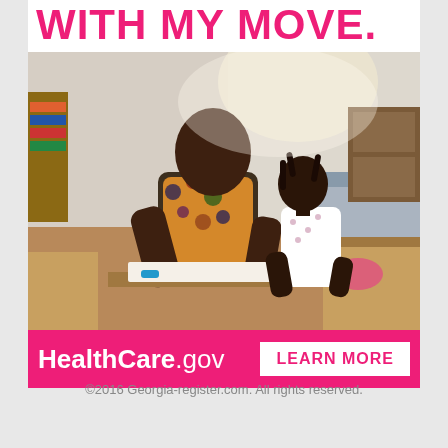WITH MY MOVE.
[Figure (photo): A man and a young girl (father and daughter) working together on the floor surrounded by moving boxes in a living room being unpacked.]
HealthCare.gov   LEARN MORE
©2016 Georgia-register.com. All rights reserved.